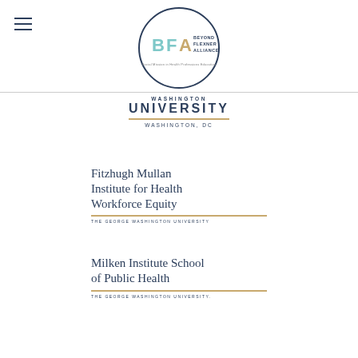[Figure (logo): Beyond Flexner Alliance (BFA) circular logo with teal/blue BFA letters and tagline 'Social Mission in Health Professions Education']
[Figure (logo): Washington University Washington, DC logo with uppercase UNIVERSITY text and gold horizontal rule]
[Figure (logo): Fitzhugh Mullan Institute for Health Workforce Equity - The George Washington University logo]
[Figure (logo): Milken Institute School of Public Health - The George Washington University logo]